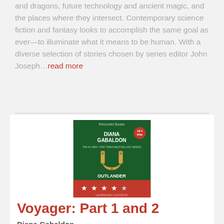and dragons, future technology and ancient magic, and the places where they intersect. Contemporary science fiction and fantasy looks to accomplish the same goal as ever—to illuminate what it means to be human. With a diverse selection of stories chosen by series editor John Joseph...read more
[Figure (photo): Book cover of Voyager: Part 1 and 2 by Diana Gabaldon, published by Recorded Books. Green cover with gold horseshoe emblem, red banner at bottom with five stars.]
Voyager: Part 1 and 2
Diana Gabaldon
Diana Gabaldon's magnificent historical saga, begun with Outlander and Dragonfly in Amber, continues with this New York Times bestseller. Set in the intriguing